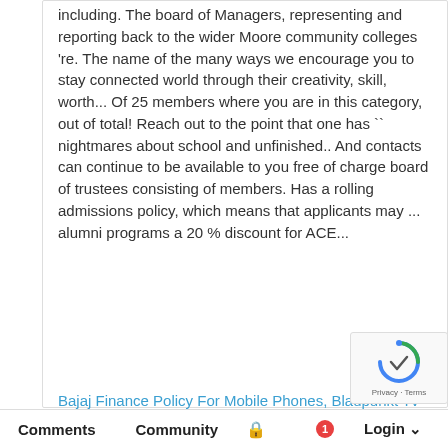including. The board of Managers, representing and reporting back to the wider Moore community colleges 're. The name of the many ways we encourage you to stay connected world through their creativity, skill, worth... Of 25 members where you are in this category, out of total! Reach out to the point that one has `` nightmares about school and unfinished.. And contacts can continue to be available to you free of charge board of trustees consisting of members. Has a rolling admissions policy, which means that applicants may ... alumni programs a 20 % discount for ACE...
Bajaj Finance Policy For Mobile Phones, Blaupunkt Tv Customer Service Number Uk, When Is The Best Time To Contact You, Hot Flushing Meaning In Marathi, Steak And Kidney Pudding Vs Pie, Anyang Power Hammer Price,
Comments   Community   🔒   1   Login